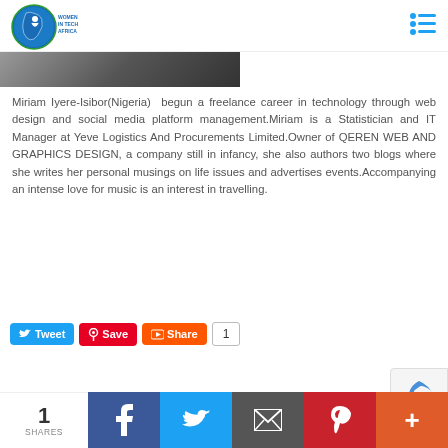[Figure (logo): Women In Tech Africa logo — blue globe with Africa outline and female figure, text 'WOMEN IN TECH AFRICA']
[Figure (photo): Partial photo strip of a person, darkened/cropped at top of page]
Miriam Iyere-Isibor(Nigeria)  begun a freelance career in technology through web design and social media platform management.Miriam is a Statistician and IT Manager at Yeve Logistics And Procurements Limited.Owner of QEREN WEB AND GRAPHICS DESIGN, a company still in infancy, she also authors two blogs where she writes her personal musings on life issues and advertises events.Accompanying an intense love for music is an interest in travelling.
[Figure (infographic): Social sharing buttons row: Tweet (Twitter/blue), Save (Pinterest/red), Share (YouTube/orange), count box showing 1]
1 SHARES | Facebook | Twitter | Email | Pinterest | More